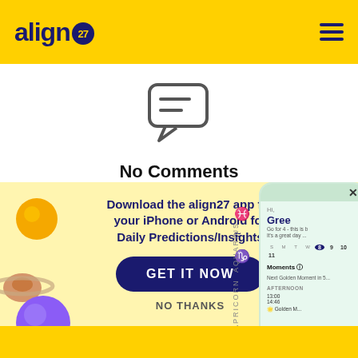align27
[Figure (illustration): Chat bubble / speech bubble icon in dark blue outline]
No Comments
[Figure (infographic): Promotional banner with light yellow background, planet illustrations (sun, saturn, purple planet), text 'Download the align27 app for your iPhone or Android for Daily Predictions/Insights', a 'GET IT NOW' button in dark navy, 'NO THANKS' text, zodiac symbols, and a phone mockup showing the app interface with 'Gree...' greeting, calendar, Moments section, and AFTERNOON time entries.]